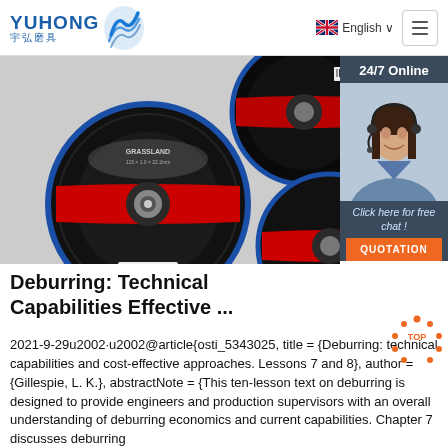YUHONG 宇弘磨具 | English | Navigation
[Figure (photo): Product photo showing dark grinding/cutting discs with YUHONG branding and red stripe, multiple overlapping discs on grey background]
[Figure (infographic): 24/7 Online chat sidebar with photo of female customer service agent wearing headset, 'Click here for free chat!' text and orange QUOTATION button]
Deburring: Technical Capabilities Effective ...
2021-9-29u2002·u2002@article{osti_5343025, title = {Deburring: technical capabilities and cost-effective approaches. Lessons 7 and 8}, author = {Gillespie, L. K.}, abstractNote = {This ten-lesson text on deburring is designed to provide engineers and production supervisors with an overall understanding of deburring economics and current capabilities. Chapter 7 discusses deburring